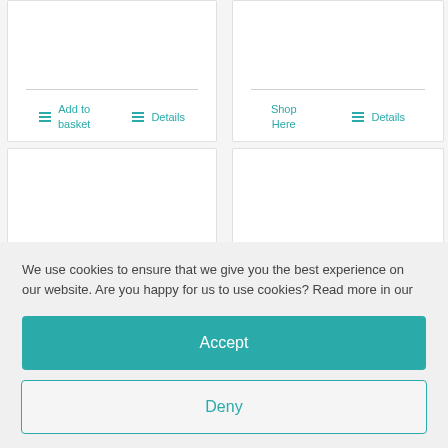[Figure (screenshot): Top-left product card with horizontal divider line, 'Add to basket' button and 'Details' link in teal]
[Figure (screenshot): Top-right product card with horizontal divider line, 'Shop Here' and 'Details' links in teal]
[Figure (screenshot): Bottom-left empty product card]
[Figure (screenshot): Bottom-right empty product card]
We use cookies to ensure that we give you the best experience on our website. Are you happy for us to use cookies? Read more in our
Accept
Deny